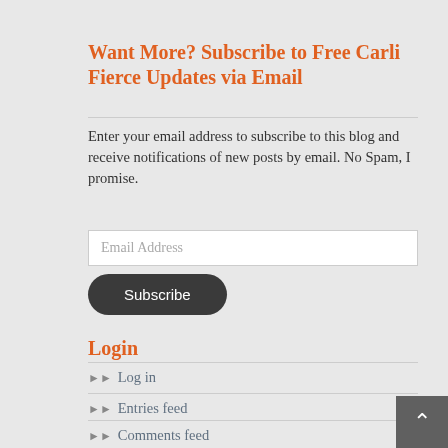Want More? Subscribe to Free Carli Fierce Updates via Email
Enter your email address to subscribe to this blog and receive notifications of new posts by email. No Spam, I promise.
Login
Log in
Entries feed
Comments feed
WordPress.org